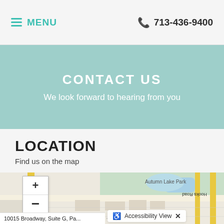MENU  713-436-9400
CONTACT US
We look forward to hearing from you
LOCATION
Find us on the map
[Figure (map): Street map showing Autumn Lake Park area with zoom +/- controls, Hooks Road visible on right side, accessibility view bar at bottom]
10015 Broadway, Suite G, Pa...